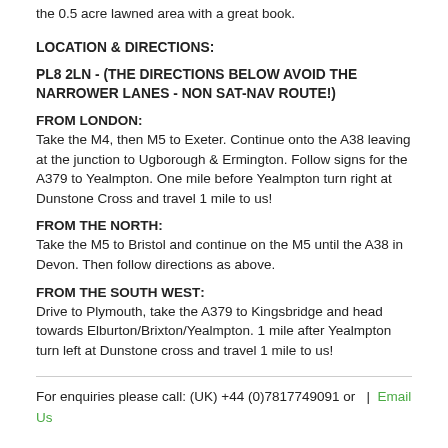the 0.5 acre lawned area with a great book.
LOCATION & DIRECTIONS:
PL8 2LN - (THE DIRECTIONS BELOW AVOID THE NARROWER LANES - NON SAT-NAV ROUTE!)
FROM LONDON: Take the M4, then M5 to Exeter. Continue onto the A38 leaving at the junction to Ugborough & Ermington. Follow signs for the A379 to Yealmpton. One mile before Yealmpton turn right at Dunstone Cross and travel 1 mile to us!
FROM THE NORTH: Take the M5 to Bristol and continue on the M5 until the A38 in Devon. Then follow directions as above.
FROM THE SOUTH WEST: Drive to Plymouth, take the A379 to Kingsbridge and head towards Elburton/Brixton/Yealmpton. 1 mile after Yealmpton turn left at Dunstone cross and travel 1 mile to us!
For enquiries please call: (UK) +44 (0)7817749091 or   |   Email Us